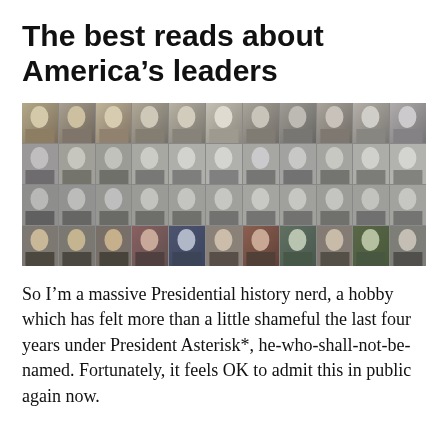The best reads about America's leaders
[Figure (photo): A grid of black-and-white and color portrait photographs of all U.S. Presidents arranged in 4 rows and 11 columns.]
So I'm a massive Presidential history nerd, a hobby which has felt more than a little shameful the last four years under President Asterisk*, he-who-shall-not-be-named. Fortunately, it feels OK to admit this in public again now.